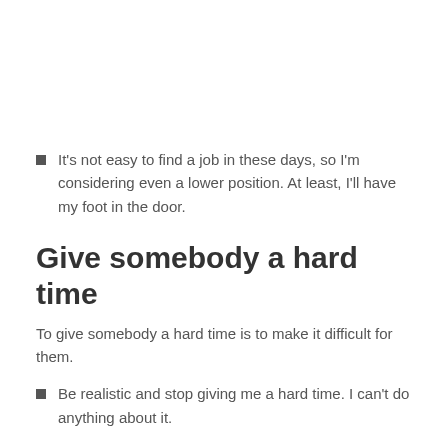It's not easy to find a job in these days, so I'm considering even a lower position. At least, I'll have my foot in the door.
Give somebody a hard time
To give somebody a hard time is to make it difficult for them.
Be realistic and stop giving me a hard time. I can't do anything about it.
Make up one's mind